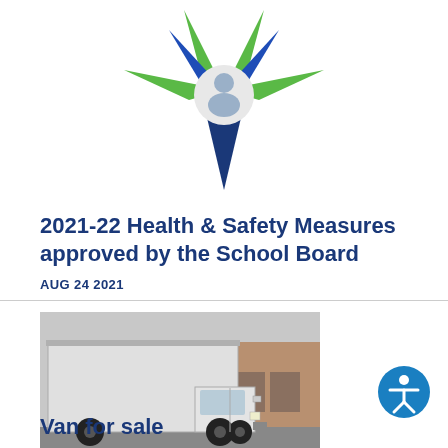[Figure (logo): School district star logo with green and blue star points and a person/figure at center]
2021-22 Health & Safety Measures approved by the School Board
AUG 24 2021
[Figure (photo): White box truck parked in a parking lot in front of a brick building]
[Figure (other): Accessibility icon button (blue circle with white person figure)]
Van for sale